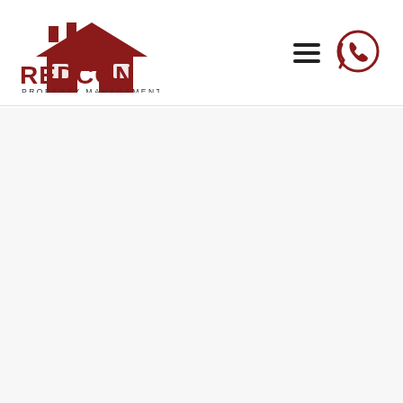[Figure (logo): REDCON Property Management logo with house icon in dark red and company name text]
[Figure (other): Hamburger menu icon (three horizontal lines) and WhatsApp phone icon in a circle]